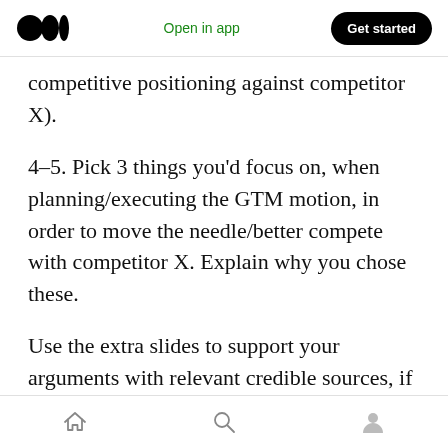Medium logo | Open in app | Get started
competitive positioning against competitor X).
4–5. Pick 3 things you'd focus on, when planning/executing the GTM motion, in order to move the needle/better compete with competitor X. Explain why you chose these.
Use the extra slides to support your arguments with relevant credible sources, if you end up having no room for these — add them in the appendix.
Practice your presentation, always plan to leave
Home | Search | Profile